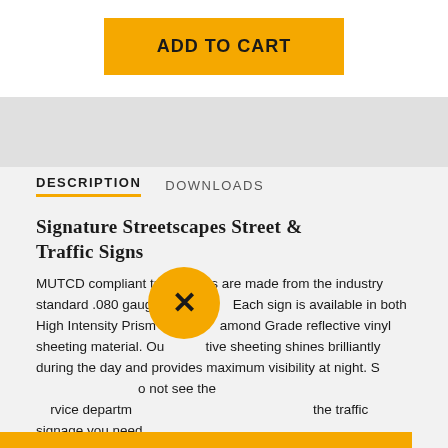[Figure (other): Yellow 'ADD TO CART' button]
DESCRIPTION    DOWNLOADS
Signature Streetscapes Street & Traffic Signs
MUTCD compliant traffic signs are made from the industry standard .080 gauge alum[...]. Each sign is available in both High Intensity Prism[...] Diamond Grade reflective vinyl sheeting material. Ou[...] ive sheeting shines brilliantly during the day and provides maximum visibility at night. S[...] o not see the [...] rvice departm[...] the traffic signage you need.